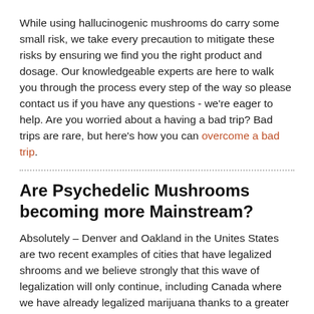While using hallucinogenic mushrooms do carry some small risk, we take every precaution to mitigate these risks by ensuring we find you the right product and dosage. Our knowledgeable experts are here to walk you through the process every step of the way so please contact us if you have any questions - we're eager to help. Are you worried about a having a bad trip? Bad trips are rare, but here's how you can overcome a bad trip.
Are Psychedelic Mushrooms becoming more Mainstream?
Absolutely – Denver and Oakland in the Unites States are two recent examples of cities that have legalized shrooms and we believe strongly that this wave of legalization will only continue, including Canada where we have already legalized marijuana thanks to a greater understanding of its effects. Psychedelics became more mainstream when recent studies found shrooms to [flag] English [flag] Français eating ntal [partial cut off]